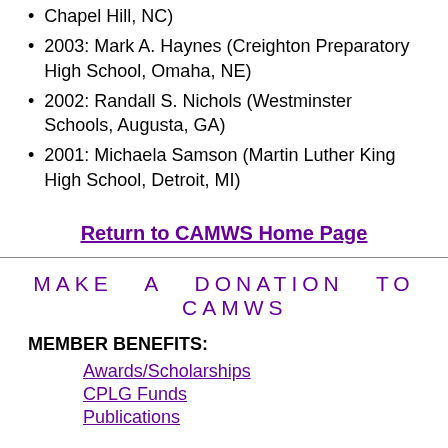Chapel Hill, NC)
2003: Mark A. Haynes (Creighton Preparatory High School, Omaha, NE)
2002: Randall S. Nichols (Westminster Schools, Augusta, GA)
2001: Michaela Samson (Martin Luther King High School, Detroit, MI)
Return to CAMWS Home Page
MAKE A DONATION TO CAMWS
MEMBER BENEFITS:
Awards/Scholarships
CPLG Funds
Publications